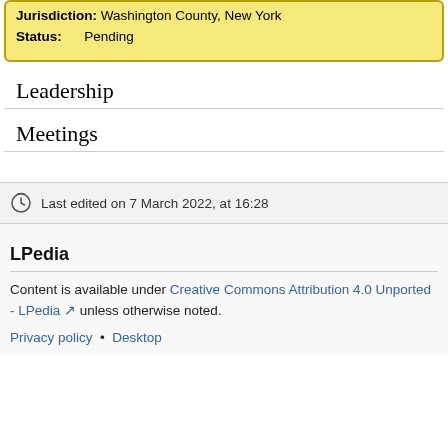Jurisdiction: Washington County, New York
Status: Pending
Leadership
Meetings
Last edited on 7 March 2022, at 16:28
LPedia
Content is available under Creative Commons Attribution 4.0 Unported - LPedia unless otherwise noted.
Privacy policy • Desktop